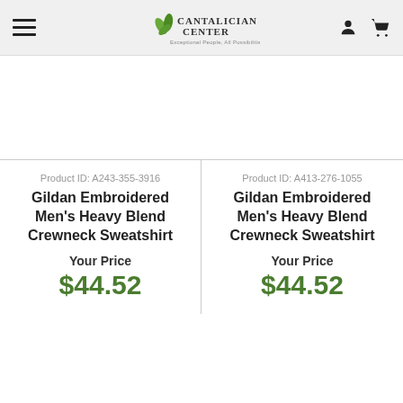Cantalician Center
Product ID: A243-355-3916
Gildan Embroidered Men's Heavy Blend Crewneck Sweatshirt
Your Price
$44.52
Product ID: A413-276-1055
Gildan Embroidered Men's Heavy Blend Crewneck Sweatshirt
Your Price
$44.52